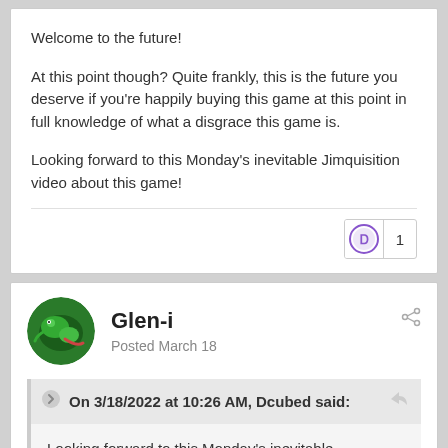Welcome to the future!
At this point though? Quite frankly, this is the future you deserve if you're happily buying this game at this point in full knowledge of what a disgrace this game is.
Looking forward to this Monday's inevitable Jimquisition video about this game!
Glen-i
Posted March 18
On 3/18/2022 at 10:26 AM, Dcubed said:
Looking forward to this Monday's inevitable Jimquisition video about this game!
I mean, yeah, they have a phrase that is always spot on with the AAA